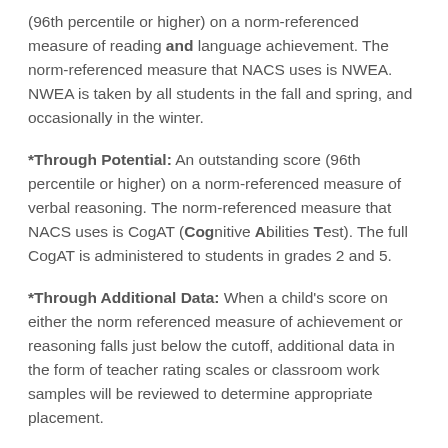(96th percentile or higher) on a norm-referenced measure of reading and language achievement. The norm-referenced measure that NACS uses is NWEA. NWEA is taken by all students in the fall and spring, and occasionally in the winter.
*Through Potential: An outstanding score (96th percentile or higher) on a norm-referenced measure of verbal reasoning. The norm-referenced measure that NACS uses is CogAT (Cognitive Abilities Test). The full CogAT is administered to students in grades 2 and 5.
*Through Additional Data: When a child's score on either the norm referenced measure of achievement or reasoning falls just below the cutoff, additional data in the form of teacher rating scales or classroom work samples will be reviewed to determine appropriate placement.